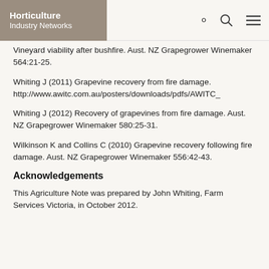Horticulture Industry Networks
Vineyard viability after bushfire. Aust. NZ Grapegrower Winemaker 564:21-25.
Whiting J (2011) Grapevine recovery from fire damage. http://www.awitc.com.au/posters/downloads/pdfs/AWITC_
Whiting J (2012) Recovery of grapevines from fire damage. Aust. NZ Grapegrower Winemaker 580:25-31.
Wilkinson K and Collins C (2010) Grapevine recovery following fire damage. Aust. NZ Grapegrower Winemaker 556:42-43.
Acknowledgements
This Agriculture Note was prepared by John Whiting, Farm Services Victoria, in October 2012.